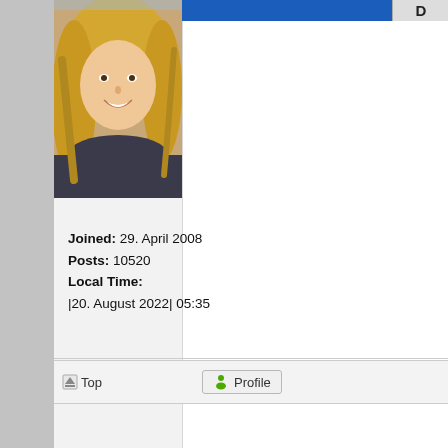[Figure (photo): Profile photo of a smiling blonde woman outdoors]
Joined: 29. April 2008
Posts: 10520
Local Time:
|20. August 2022| 05:35
Top  Profile
Display posts from previous:  All p
New Topic  Post Reply  Page 1 of 1  [ 8 posts ]  Board index : English Fo